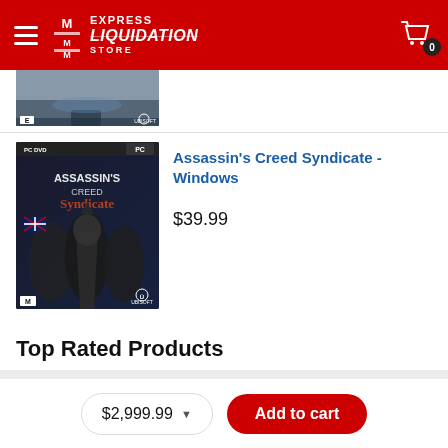[Figure (screenshot): Express Liquidation Store website header with red background, hamburger menu, logo, and cart icon with 0 badge]
[Figure (photo): Partial product image of a PC DVD game (top portion cut off), showing a water/harbor scene]
[Figure (photo): Assassin's Creed Syndicate PC DVD game box art showing hooded assassin characters on dark background]
Assassin's Creed Syndicate - Windows
$39.99
Top Rated Products
$2,999.99
Add to cart